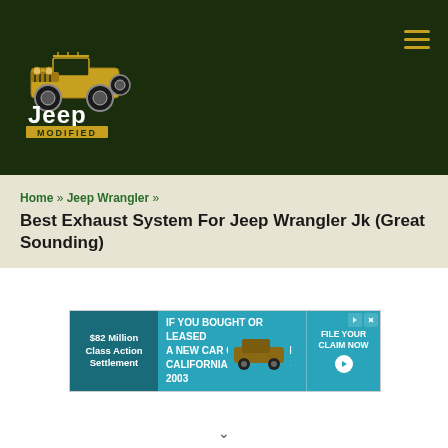[Figure (logo): Jeep Modified logo: yellow jeep illustration on dark green background with text 'Jeep' in white and 'MODIFIED' on yellow bar]
Home » Jeep Wrangler » Best Exhaust System For Jeep Wrangler Jk (Great Sounding)
Best Exhaust System For Jeep Wrangler Jk (Great Sounding)
[Figure (screenshot): Advertisement: $82 Million Class Action Settlement - IF YOU BOUGHT OR LEASED A NEW CAR OR TRUCK IN CALIFORNIA FROM 2001 - 2003 - FILE YOUR CLAIM NOW]